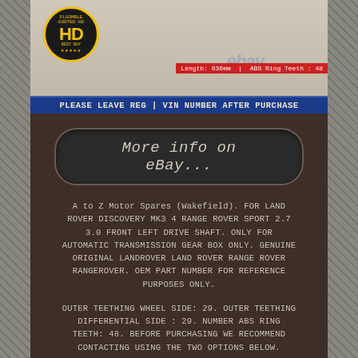[Figure (photo): eBay product listing image showing HD badge logo and part specifications banner with text 'PLEASE LEAVE REG | VIN NUMBER AFTER PURCHASE']
[Figure (other): Button graphic with rounded rectangle shape saying 'More info on eBay...']
A to Z Motor Spares (Wakefield). FOR LAND ROVER DISCOVERY MK3 4 RANGE ROVER SPORT 2.7 3.0 FRONT LEFT DRIVE SHAFT. ONLY FOR AUTOMATIC TRANSMISSION GEAR BOX ONLY. GENUINE ORIGINAL LANDROVER LAND ROVER RANGE ROVER RANGEROVER. OEM PART NUMBER FOR REFERENCE PURPOSES ONLY.
OUTER TEETHING WHEEL SIDE: 29. OUTER TEETHING DIFFERENTIAL SIDE : 29. NUMBER ABS RING TEETH: 48. BEFORE PURCHASING WE RECOMMEND CONTACTING USING THE TWO OPTIONS BELOW.
UK REGISTERED VEHICLES ONLY = UK REG , LICENCE PLATE OR CHASSIS / VIN. NONE UK REGISTERED VEHICLES ONLY = CHASSIS / VIN ONLY. THIS IS NEEDED SO THAT WE CAN CHECK FITMENT. We make every effort to deliver